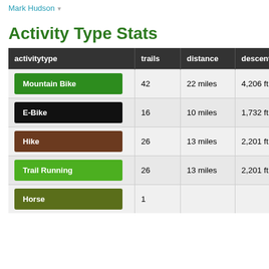Mark Hudson
Activity Type Stats
| activitytype | trails | distance | descent | descent distance | to |
| --- | --- | --- | --- | --- | --- |
| Mountain Bike | 42 | 22 miles | 4,206 ft | 10 miles | 38 |
| E-Bike | 16 | 10 miles | 1,732 ft | 4 miles | 38 |
| Hike | 26 | 13 miles | 2,201 ft | 5 miles | 38 |
| Trail Running | 26 | 13 miles | 2,201 ft | 5 miles | 38 |
| Horse | 1 |  |  |  |  |